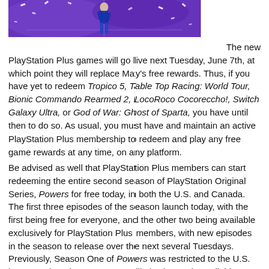[Figure (photo): A basketball player on a purple court/field background with confetti, partial image cropped at top]
The new PlayStation Plus games will go live next Tuesday, June 7th, at which point they will replace May's free rewards. Thus, if you have yet to redeem Tropico 5, Table Top Racing: World Tour, Bionic Commando Rearmed 2, LocoRoco Cocoreccho!, Switch Galaxy Ultra, or God of War: Ghost of Sparta, you have until then to do so. As usual, you must have and maintain an active PlayStation Plus membership to redeem and play any free game rewards at any time, on any platform.
Be advised as well that PlayStation Plus members can start redeeming the entire second season of PlayStation Original Series, Powers for free today, in both the U.S. and Canada. The first three episodes of the season launch today, with the first being free for everyone, and the other two being available exclusively for PlayStation Plus members, with new episodes in the season to release over the next several Tuesdays. Previously, Season One of Powers was restricted to the U.S. last year, though Season Two will also be made available to Canadians with